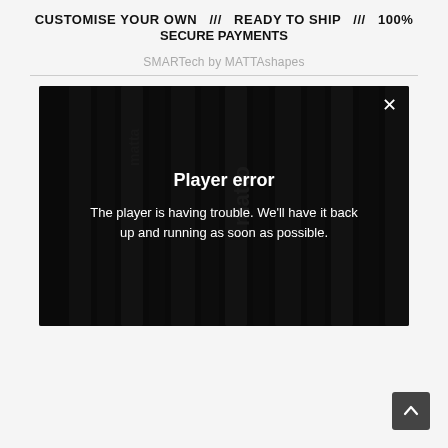CUSTOMISE YOUR OWN /// READY TO SHIP /// 100% SECURE PAYMENTS
SMARTech by MATTAshapes
[Figure (screenshot): Video player showing golf club irons in dark/black finish with a 'Player error' overlay. The overlay shows bold white text 'Player error' and smaller white text 'The player is having trouble. We'll have it back up and running as soon as possible.' A close (X) button is in the top right corner of the player.]